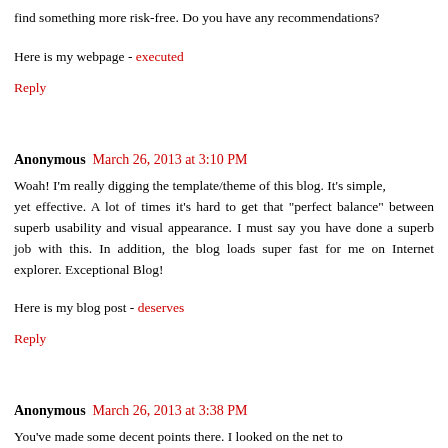find something more risk-free. Do you have any recommendations?
Here is my webpage - executed
Reply
Anonymous March 26, 2013 at 3:10 PM
Woah! I'm really digging the template/theme of this blog. It's simple, yet effective. A lot of times it's hard to get that "perfect balance" between superb usability and visual appearance. I must say you have done a superb job with this. In addition, the blog loads super fast for me on Internet explorer. Exceptional Blog!
Here is my blog post - deserves
Reply
Anonymous March 26, 2013 at 3:38 PM
You've made some decent points there. I looked on the net to